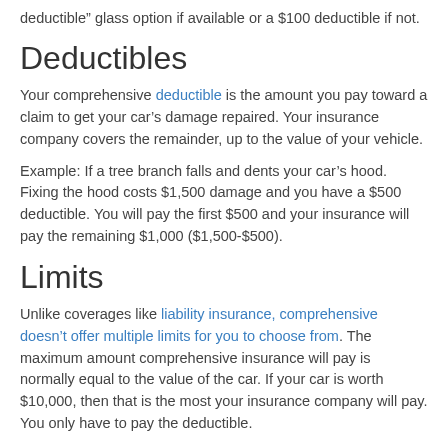deductible” glass option if available or a $100 deductible if not.
Deductibles
Your comprehensive deductible is the amount you pay toward a claim to get your car’s damage repaired. Your insurance company covers the remainder, up to the value of your vehicle.
Example: If a tree branch falls and dents your car’s hood. Fixing the hood costs $1,500 damage and you have a $500 deductible. You will pay the first $500 and your insurance will pay the remaining $1,000 ($1,500-$500).
Limits
Unlike coverages like liability insurance, comprehensive doesn’t offer multiple limits for you to choose from. The maximum amount comprehensive insurance will pay is normally equal to the value of the car. If your car is worth $10,000, then that is the most your insurance company will pay. You only have to pay the deductible.